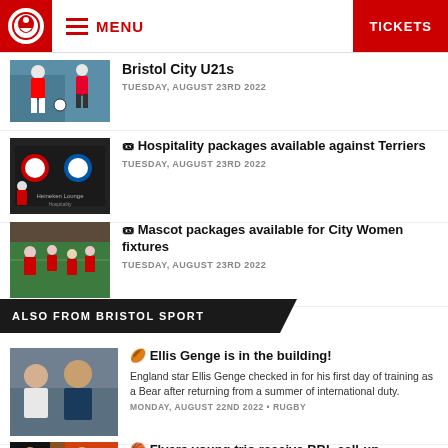MENU | TICKETS
Bristol City U21s — TUESDAY, AUGUST 23RD 2022
🎟 Hospitality packages available against Terriers — TUESDAY, AUGUST 23RD 2022
🎟 Mascot packages available for City Women fixtures — TUESDAY, AUGUST 23RD 2022
ALSO FROM BRISTOL SPORT
🏉 Ellis Genge is in the building! — England star Ellis Genge checked in for his first day of training as a Bear after returning from a summer of international duty. — MONDAY, AUGUST 22ND 2022 • RUGBY
🏀 Flyers young trio receive BBL call-up — Bristol Flyers have bolstered their 2022/23 BBL